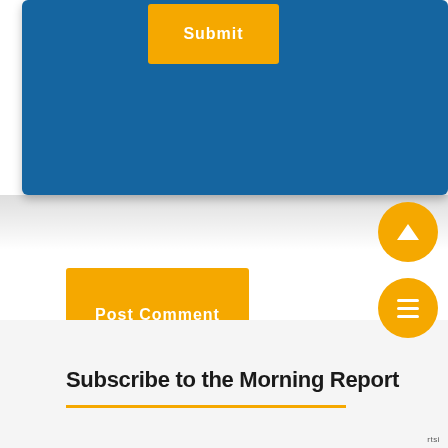[Figure (screenshot): Blue rounded rectangle form section with a yellow 'Submit' button]
[Figure (screenshot): Yellow 'Post Comment' button]
Subscribe to the Morning Report
[Figure (screenshot): Orange horizontal rule line below the Subscribe title]
[Figure (screenshot): Yellow circular scroll-up button with up arrow icon]
[Figure (screenshot): Yellow circular menu button with hamburger icon]